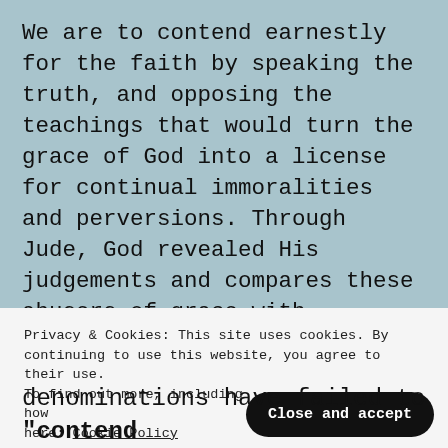We are to contend earnestly for the faith by speaking the truth, and opposing the teachings that would turn the grace of God into a license for continual immoralities and perversions. Through Jude, God revealed His judgements and compares these abusers of grace with unbelievers, perverts and lustful fallen angels. As a prophecy it is a lot easier than Revelation to understand. I pray you take the time to read Jude's remaining verses.
Privacy & Cookies: This site uses cookies. By continuing to use this website, you agree to their use. To find out more, including how to control cookies, see here: Cookie Policy
denominations have failed to "contend